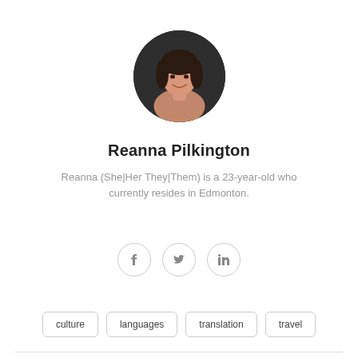[Figure (photo): Circular profile photo of Reanna Pilkington, a young woman with dark hair and bangs, smiling, wearing a dusty rose top, against a dark background.]
Reanna Pilkington
Reanna (She|Her They|Them) is a 23-year-old who currently resides in Edmonton.
[Figure (infographic): Three circular social media icon buttons: Facebook (f), Twitter (bird), LinkedIn (in), each with a light grey border.]
culture
languages
translation
travel